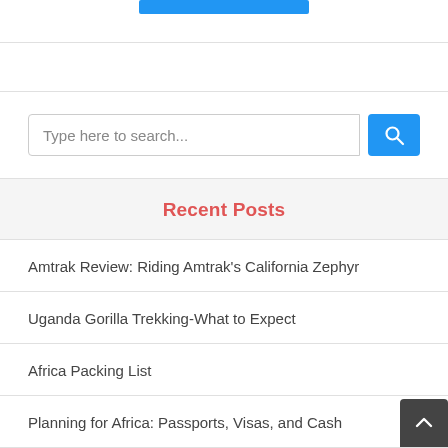[Figure (other): Blue button/bar at top of page]
Type here to search...
Recent Posts
Amtrak Review: Riding Amtrak’s California Zephyr
Uganda Gorilla Trekking-What to Expect
Africa Packing List
Planning for Africa: Passports, Visas, and Cash